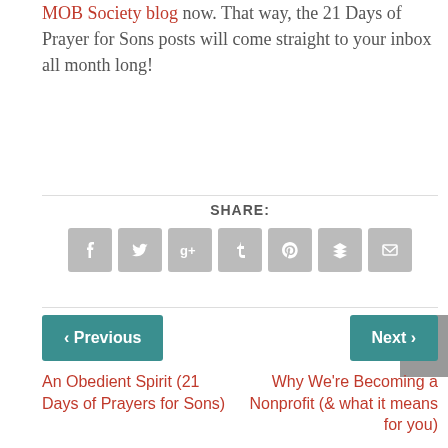MOB Society blog now. That way, the 21 Days of Prayer for Sons posts will come straight to your inbox all month long!
SHARE:
[Figure (infographic): Social share buttons: Facebook, Twitter, Google+, Tumblr, Pinterest, Buffer, Email]
< Previous
Next >
An Obedient Spirit (21 Days of Prayers for Sons)
Why We're Becoming a Nonprofit (& what it means for you)